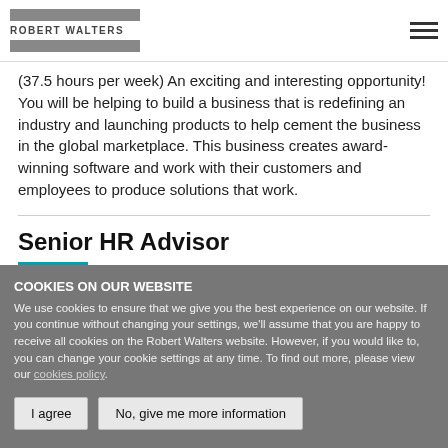ROBERT WALTERS
(37.5 hours per week) An exciting and interesting opportunity! You will be helping to build a business that is redefining an industry and launching products to help cement the business in the global marketplace. This business creates award-winning software and work with their customers and employees to produce solutions that work.
Senior HR Advisor
COOKIES ON OUR WEBSITE
We use cookies to ensure that we give you the best experience on our website. If you continue without changing your settings, we'll assume that you are happy to receive all cookies on the Robert Walters website. However, if you would like to, you can change your cookie settings at any time. To find out more, please view our cookies policy.
I agree | No, give me more information